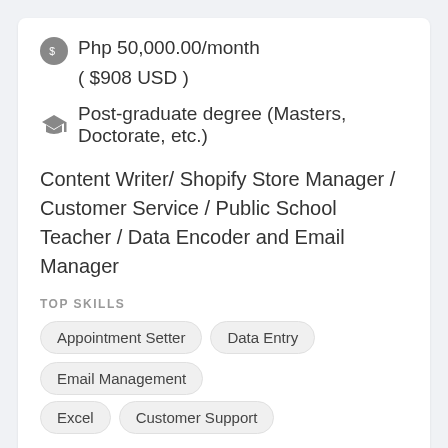Php 50,000.00/month ( $908 USD )
Post-graduate degree (Masters, Doctorate, etc.)
Content Writer/ Shopify Store Manager / Customer Service / Public School Teacher / Data Encoder and Email Manager
TOP SKILLS
Appointment Setter
Data Entry
Email Management
Excel
Customer Support
Customer Service Representative-E-mail/Chat Support